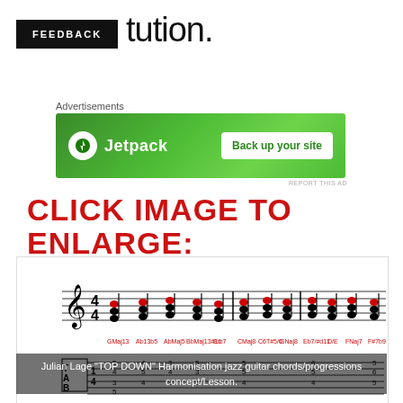tution.
FEEDBACK
Advertisements
[Figure (other): Jetpack advertisement banner with green background, Jetpack logo on the left, and 'Back up your site' button on the right.]
REPORT THIS AD
CLICK IMAGE TO ENLARGE:
[Figure (other): Sheet music excerpt showing jazz guitar chords and progressions labeled with chord names in red (GMaj13, Ab13b5, AbMaj5, BbMaj13#11, Em7, CMaj8, C6789/0, GNaj8, Eb7/Dd11, D/E, FNaj7, F#769) on a standard notation staff with TAB notation below.]
Julian Lage "TOP DOWN" Harmonisation jazz guitar chords/progressions concept/Lesson.